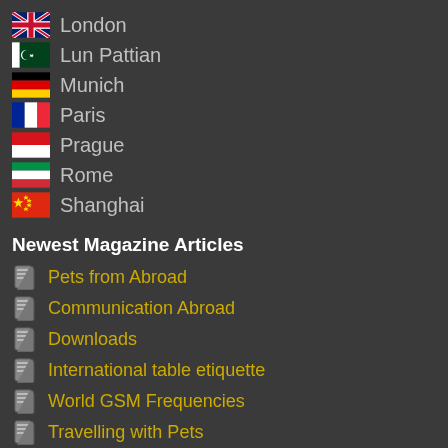London
Lun Pattian
Munich
Paris
Prague
Rome
Shanghai
Newest Magazine Articles
Pets from Abroad
Communication Abroad
Downloads
International table etiquette
World GSM Frequencies
Travelling with Pets
Country Telephone Prefix
Natural Healing
Travel quote of the moment: